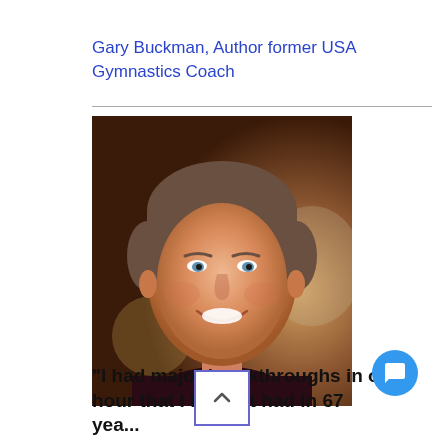Gary Buckman, Author former USA Gymnastics Coach
[Figure (photo): Headshot portrait of a smiling middle-aged man with short brown hair wearing a dark maroon shirt, photographed against a blurred warm indoor background.]
"I had major breakthroughs in one hour that I haven't had in 67 yea...